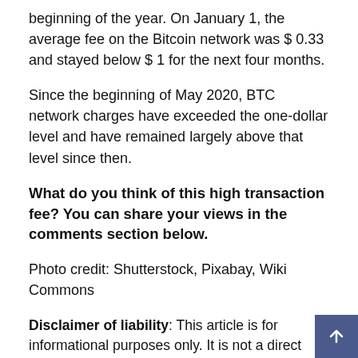beginning of the year. On January 1, the average fee on the Bitcoin network was $ 0.33 and stayed below $ 1 for the next four months.
Since the beginning of May 2020, BTC network charges have exceeded the one-dollar level and have remained largely above that level since then.
What do you think of this high transaction fee? You can share your views in the comments section below.
Photo credit: Shutterstock, Pixabay, Wiki Commons
Disclaimer of liability: This article is for informational purposes only. It is not a direct offer or a solicitation of an offer to buy or sell or a recommendation or approval of products, services or companies. Bitcoin.com does not provide investment, tax, legal, or accounting advice. Neither the company nor the author are directly or indirectly responsible for any damage or loss caused or allegedly